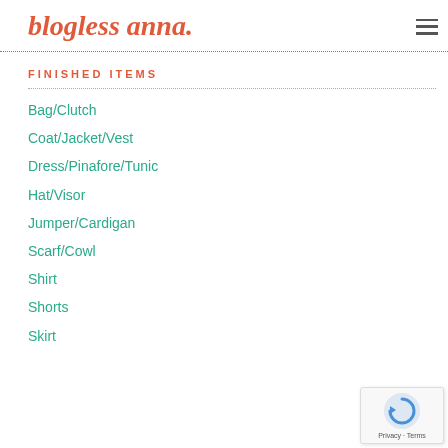blogless anna.
FINISHED ITEMS
Bag/Clutch
Coat/Jacket/Vest
Dress/Pinafore/Tunic
Hat/Visor
Jumper/Cardigan
Scarf/Cowl
Shirt
Shorts
Skirt
[Figure (logo): reCAPTCHA privacy badge with circular arrow icon and Privacy · Terms text]